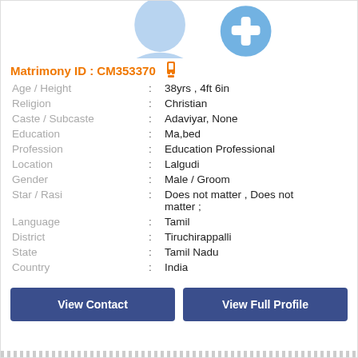[Figure (illustration): Partial profile silhouette with a blue plus/add icon overlay at top of card]
Matrimony ID : CM353370
| Age / Height | : | 38yrs , 4ft 6in |
| Religion | : | Christian |
| Caste / Subcaste | : | Adaviyar, None |
| Education | : | Ma,bed |
| Profession | : | Education Professional |
| Location | : | Lalgudi |
| Gender | : | Male / Groom |
| Star / Rasi | : | Does not matter , Does not matter ; |
| Language | : | Tamil |
| District | : | Tiruchirappalli |
| State | : | Tamil Nadu |
| Country | : | India |
View Contact
View Full Profile